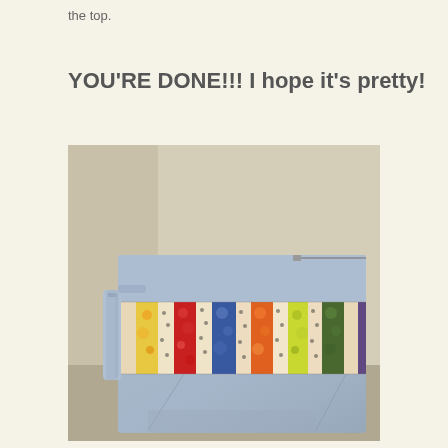the top.
YOU'RE DONE!!! I hope it's pretty!
[Figure (photo): A completed denim and patchwork quilted wristlet bag. The bag features a light blue denim body with a colorful patchwork strip across the middle made of alternating cream/tan and vibrant colored fabric strips (yellow, red, blue, orange, green patterns). The bag has a denim wrist strap on the left side and a zipper across the top.]